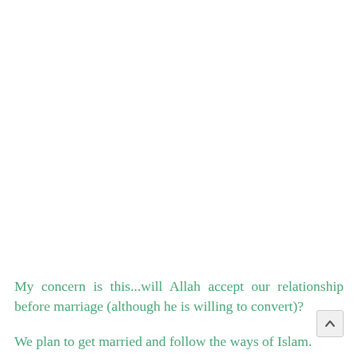My concern is this...will Allah accept our relationship before marriage (although he is willing to convert)?
We plan to get married and follow the ways of Islam.